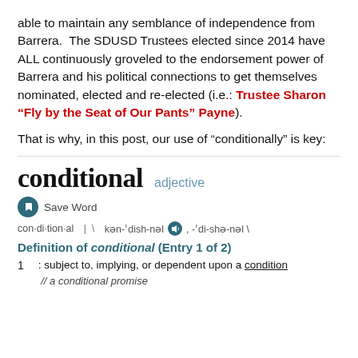able to maintain any semblance of independence from Barrera.  The SDUSD Trustees elected since 2014 have ALL continuously groveled to the endorsement power of Barrera and his political connections to get themselves nominated, elected and re-elected (i.e.: Trustee Sharon “Fly by the Seat of Our Pants” Payne).
That is why, in this post, our use of “conditionally” is key:
[Figure (other): Dictionary entry for the word 'conditional' from Merriam-Webster. Shows the headword 'conditional' in bold serif font, labeled as 'adjective'. Includes a Save Word button, phonetic pronunciation 'con·di·tion·al | \ kən-ˈdish-nəl, -ˈdi-shə-nəl \', a definition header 'Definition of conditional (Entry 1 of 2)', and definition 1: 'subject to, implying, or dependent upon a condition // a conditional promise'.]